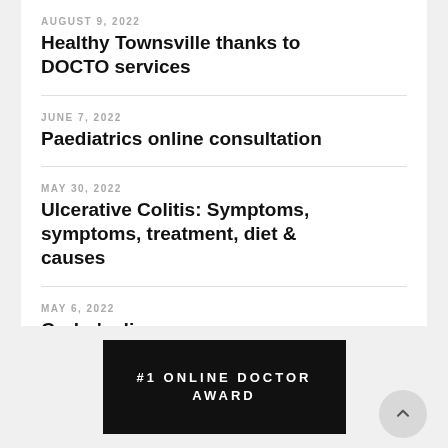AUGUST 9, 2022
Healthy Townsville thanks to DOCTO services
JUNE 7, 2022
Paediatrics online consultation
MAY 30, 2022
Ulcerative Colitis: Symptoms, symptoms, treatment, diet & causes
MAY 6, 2022
Crohn's disease
[Figure (other): #1 ONLINE DOCTOR AWARD banner on black background with scroll-to-top button]